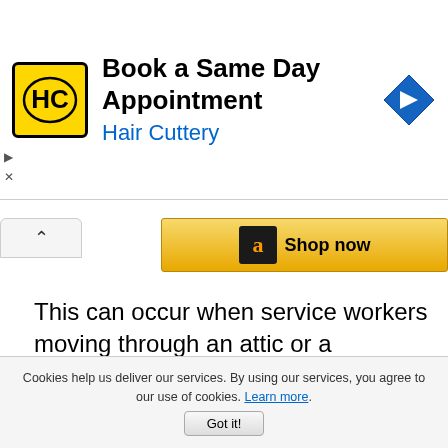[Figure (logo): Hair Cuttery advertisement banner with HC logo, 'Book a Same Day Appointment' heading, 'Hair Cuttery' subtitle in blue, and a blue navigation arrow icon]
[Figure (logo): Amazon 'Shop now' button with orange/yellow gradient background and Amazon 'a' logo]
This can occur when service workers moving through an attic or a crawlspace accidentally cut or pull loose wiring. Rodents will chew almost anything, including alarm wires, and have caused me the occasional problem.
Cookies help us deliver our services. By using our services, you agree to our use of cookies. Learn more. Got it!